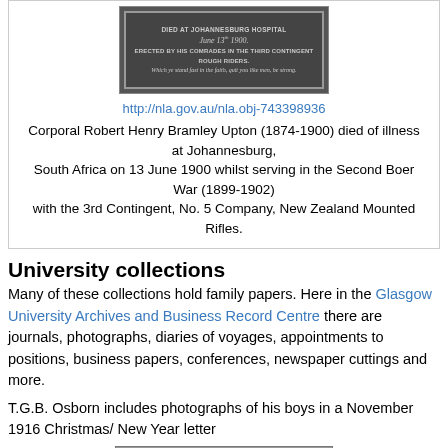[Figure (photo): Black and white photograph of a memorial plaque with text about someone who died at Johannesburg Hospital, erected by comrades in the Third Contingent Rough Riders.]
http://nla.gov.au/nla.obj-743398936
Corporal Robert Henry Bramley Upton (1874-1900) died of illness at Johannesburg, South Africa on 13 June 1900 whilst serving in the Second Boer War (1899-1902) with the 3rd Contingent, No. 5 Company, New Zealand Mounted Rifles.
University collections
Many of these collections hold family papers. Here in the Glasgow University Archives and Business Record Centre there are journals, photographs, diaries of voyages, appointments to positions, business papers, conferences, newspaper cuttings and more.
T.G.B. Osborn includes photographs of his boys in a November 1916 Christmas/ New Year letter
[Figure (photo): Black and white historical photograph showing silhouettes of boys, from a November 1916 Christmas/New Year letter by T.G.B. Osborn.]